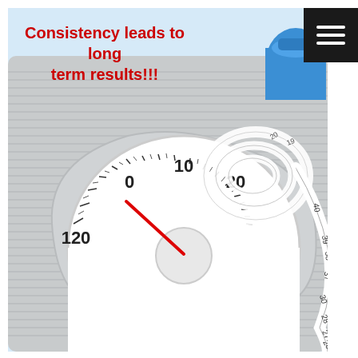[Figure (photo): Photo of a bathroom weighing scale with a dial showing 0, 10, 20 markings and a red needle, next to a coiled white measuring tape with numbers visible (20-40 range), and a blue water bottle in the top right corner, all on a light gray striped scale platform with a light blue background.]
Consistency leads to long term results!!!